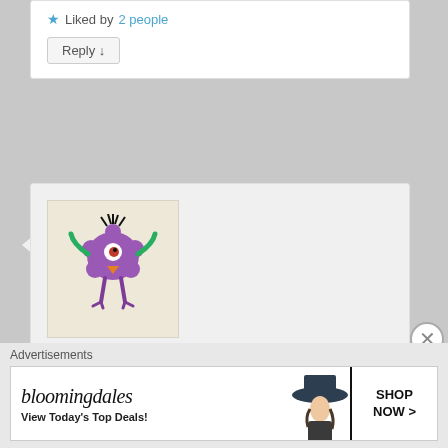Liked by 2 people
Reply ↓
[Figure (illustration): Purple monster cartoon avatar with one eye, green arms, black spiky hair on top, standing on two legs]
Karine on October 9, 2015 at 8:56 pm said:
Thank you for the good laughs! I needed them and so will my BF enjoy them as well!
Liked by 1 person
Advertisements
[Figure (screenshot): Bloomingdales advertisement banner: bloomingdales logo, View Today's Top Deals!, woman with large hat, SHOP NOW >]